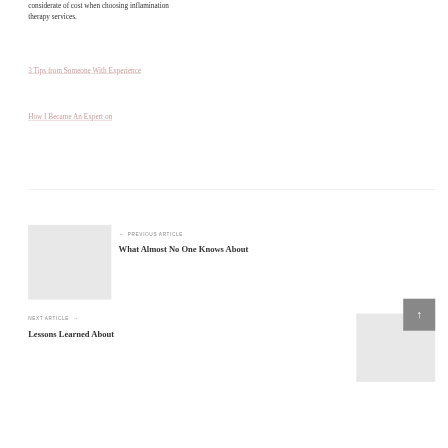considerate of cost when choosing inflamination therapy services.
3 Tips from Someone With Experience
How I Became An Expert on
← PREVIOUS ARTICLE
What Almost No One Knows About
NEXT ARTICLE →
Lessons Learned About